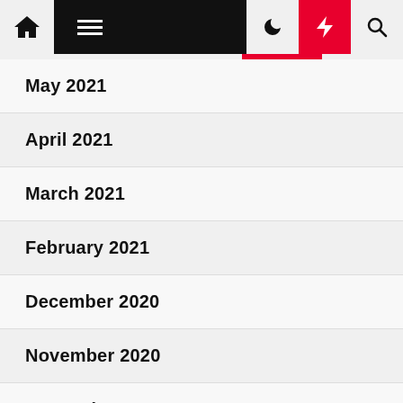Navigation bar with home, menu, moon, bolt, and search icons
May 2021
April 2021
March 2021
February 2021
December 2020
November 2020
September 2020
July 2020
June 2020